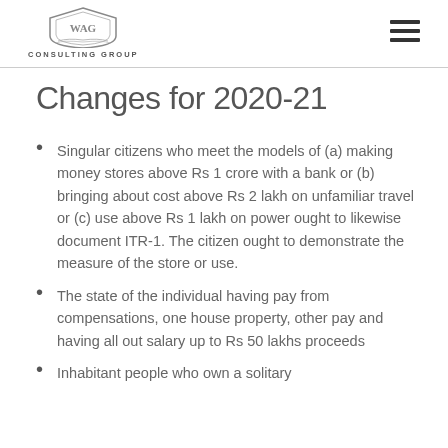WAG Consulting Group
Changes for 2020-21
Singular citizens who meet the models of (a) making money stores above Rs 1 crore with a bank or (b) bringing about cost above Rs 2 lakh on unfamiliar travel or (c) use above Rs 1 lakh on power ought to likewise document ITR-1. The citizen ought to demonstrate the measure of the store or use.
The state of the individual having pay from compensations, one house property, other pay and having all out salary up to Rs 50 lakhs proceeds
Inhabitant people who own a solitary